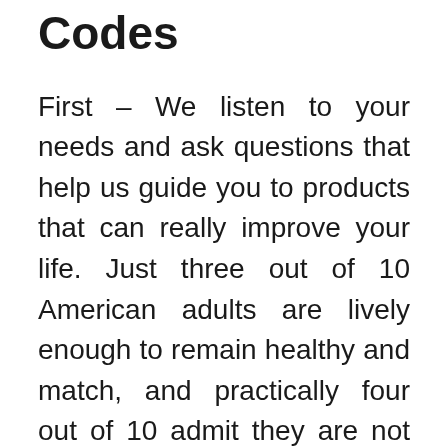Codes
First – We listen to your needs and ask questions that help us guide you to products that can really improve your life. Just three out of 10 American adults are lively enough to remain healthy and match, and practically four out of 10 admit they are not active in any respect, despite reams of research proving that train is a powerful preventive, and sometimes an antidote, for disability